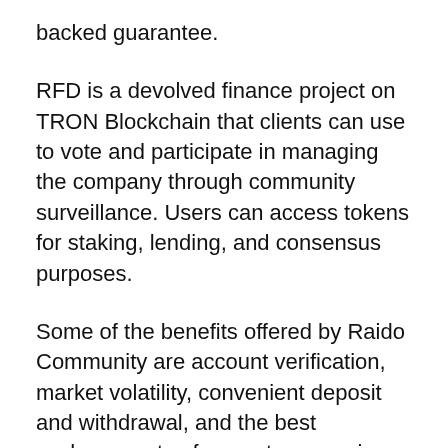backed guarantee.
RFD is a devolved finance project on TRON Blockchain that clients can use to vote and participate in managing the company through community surveillance. Users can access tokens for staking, lending, and consensus purposes.
Some of the benefits offered by Raido Community are account verification, market volatility, convenient deposit and withdrawal, and the best exchange rates for cryptocurrencies security, and account access.
Raido Community, through RFD Defi, offers clients the chance to bet in a wide range of options that will result in RFD rewards. The company also calls this